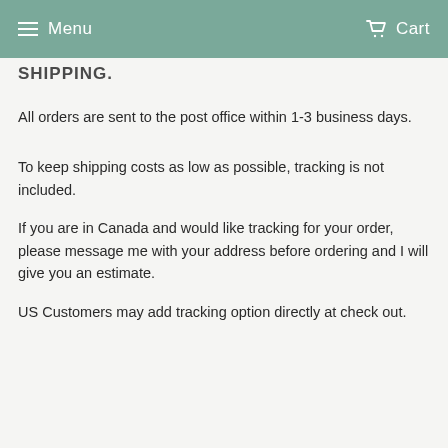Menu  Cart
SHIPPING.
All orders are sent to the post office within 1-3 business days.
To keep shipping costs as low as possible, tracking is not included.
If you are in Canada and would like tracking for your order, please message me with your address before ordering and I will give you an estimate.
US Customers may add tracking option directly at check out.